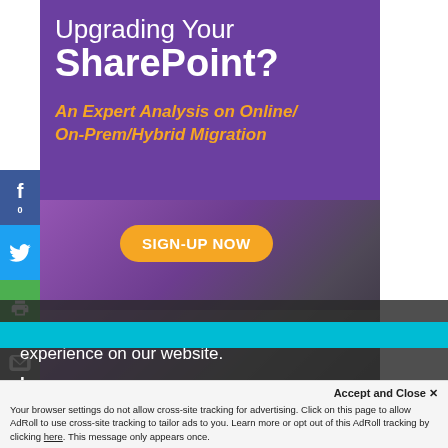Upgrading Your SharePoint?
An Expert Analysis on Online/ On-Prem/Hybrid Migration
SIGN-UP NOW
[Figure (photo): Background photo of a person with purple-toned overlay, overlapping the SharePoint banner advertisement]
This website uses cookies to ensure you get the best experience on our website.
Learn more
Accept and Close ✕
Your browser settings do not allow cross-site tracking for advertising. Click on this page to allow AdRoll to use cross-site tracking to tailor ads to you. Learn more or opt out of this AdRoll tracking by clicking here. This message only appears once.